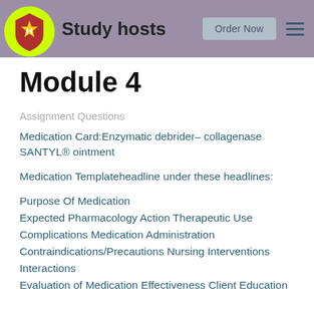Study hosts | Order Now
Module 4
Assignment Questions
Medication Card:Enzymatic debrider– collagenase SANTYL® ointment
Medication Templateheadline under these headlines:
Purpose Of Medication
Expected Pharmacology Action Therapeutic Use
Complications Medication Administration
Contraindications/Precautions Nursing Interventions
Interactions
Evaluation of Medication Effectiveness Client Education